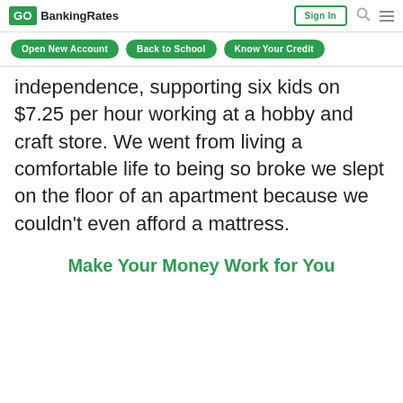GO BankingRates | Sign In
Open New Account  Back to School  Know Your Credit
independence, supporting six kids on $7.25 per hour working at a hobby and craft store. We went from living a comfortable life to being so broke we slept on the floor of an apartment because we couldn't even afford a mattress.
Make Your Money Work for You